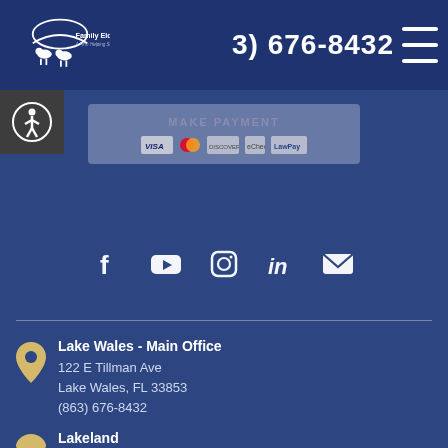Family Elder Law - A Firm Helping Seniors | (863) 676-8432
[Figure (screenshot): Make Payment widget with payment card icons (Visa, Mastercard, Discover, etc.)]
[Figure (infographic): Social media icons row: Facebook, YouTube, Instagram, LinkedIn, Email]
Lake Wales - Main Office
122 E Tillman Ave
Lake Wales, FL 33853
(863) 676-8432
Lakeland
5908 Hillside Heights Dr